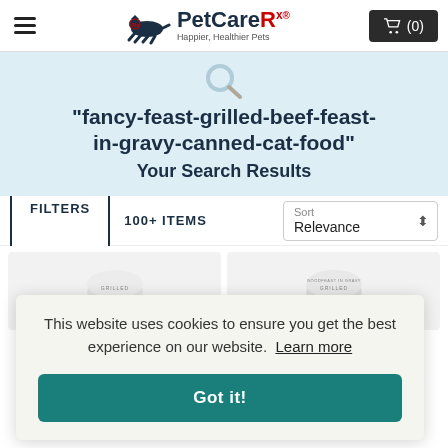PetCareRx — Happier, Healthier Pets
“fancy-feast-grilled-beef-feast-in-gravy-canned-cat-food” Your Search Results
FILTERS   100+ ITEMS   Sort  Relevance
This website uses cookies to ensure you get the best experience on our website. Learn more
Got it!